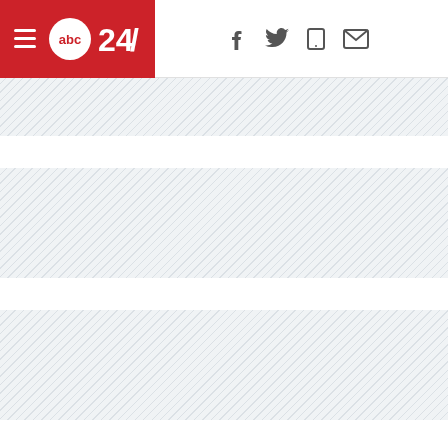abc24 news website header with hamburger menu, logo, and social icons (Facebook, Twitter, mobile, email)
[Figure (other): Advertisement banner strip 1 with diagonal hatching pattern]
[Figure (other): Advertisement banner strip 2 with diagonal hatching pattern]
[Figure (other): Advertisement banner strip 3 with diagonal hatching pattern]
[Figure (photo): Breaking News banner with red badge reading BREAKING NEWS, a phone screen showing a live video feed, and blurred outdoor scene on the right]